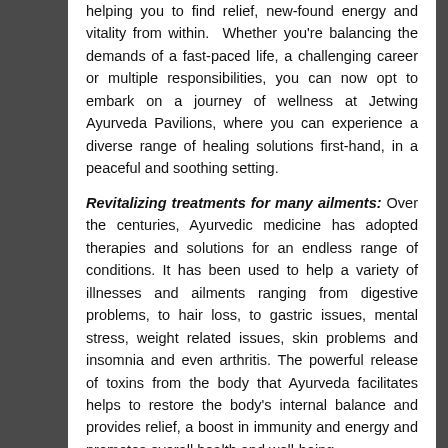helping you to find relief, new-found energy and vitality from within. Whether you're balancing the demands of a fast-paced life, a challenging career or multiple responsibilities, you can now opt to embark on a journey of wellness at Jetwing Ayurveda Pavilions, where you can experience a diverse range of healing solutions first-hand, in a peaceful and soothing setting.
Revitalizing treatments for many ailments: Over the centuries, Ayurvedic medicine has adopted therapies and solutions for an endless range of conditions. It has been used to help a variety of illnesses and ailments ranging from digestive problems, to hair loss, to gastric issues, mental stress, weight related issues, skin problems and insomnia and even arthritis. The powerful release of toxins from the body that Ayurveda facilitates helps to restore the body's internal balance and provides relief, a boost in immunity and energy and promotes overall health and well-being.
Tailored treatments and therapies to suit each...